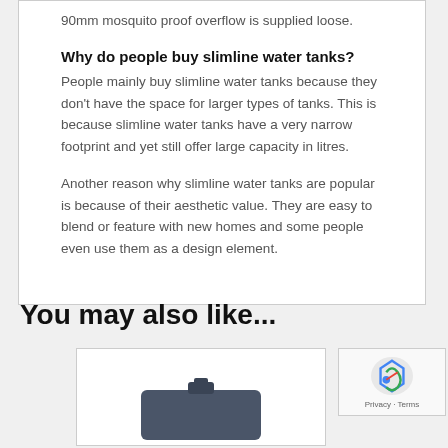90mm mosquito proof overflow is supplied loose.
Why do people buy slimline water tanks?
People mainly buy slimline water tanks because they don't have the space for larger types of tanks. This is because slimline water tanks have a very narrow footprint and yet still offer large capacity in litres.
Another reason why slimline water tanks are popular is because of their aesthetic value. They are easy to blend or feature with new homes and some people even use them as a design element.
You may also like...
[Figure (photo): A dark-colored slimline water tank product image]
[Figure (other): reCAPTCHA privacy badge with logo]